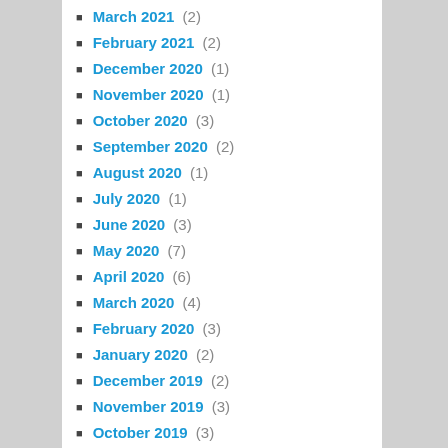March 2021 (2)
February 2021 (2)
December 2020 (1)
November 2020 (1)
October 2020 (3)
September 2020 (2)
August 2020 (1)
July 2020 (1)
June 2020 (3)
May 2020 (7)
April 2020 (6)
March 2020 (4)
February 2020 (3)
January 2020 (2)
December 2019 (2)
November 2019 (3)
October 2019 (3)
September 2019 (2)
August 2019 (3)
July 2019 (1)
June 2019 (3)